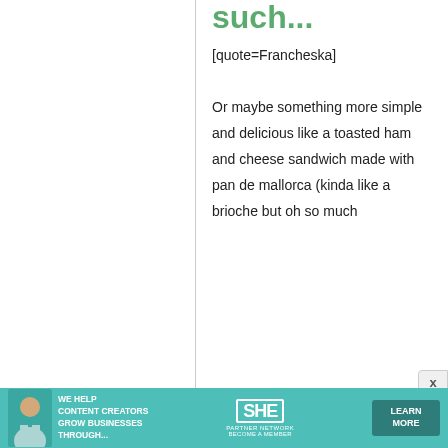such...
[quote=Francheska]
Or maybe something more simple and delicious like a toasted ham and cheese sandwich made with pan de mallorca (kinda like a brioche but oh so much
[Figure (infographic): Advertisement banner: SHE Media Partner Network. Text reads: WE HELP CONTENT CREATORS GROW BUSINESSES THROUGH... with a LEARN MORE button.]